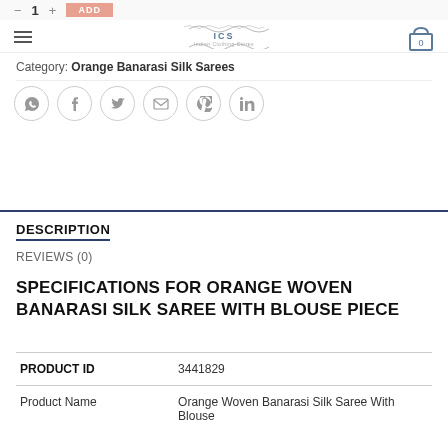ICS Indian Clothing Stores
Category: Orange Banarasi Silk Sarees
[Figure (other): Social share icons: WhatsApp, Facebook, Twitter, Email, Pinterest, LinkedIn]
DESCRIPTION
REVIEWS (0)
SPECIFICATIONS FOR ORANGE WOVEN BANARASI SILK SAREE WITH BLOUSE PIECE
| PRODUCT ID | 3441829 |
| --- | --- |
| Product Name | Orange Woven Banarasi Silk Saree With Blouse |